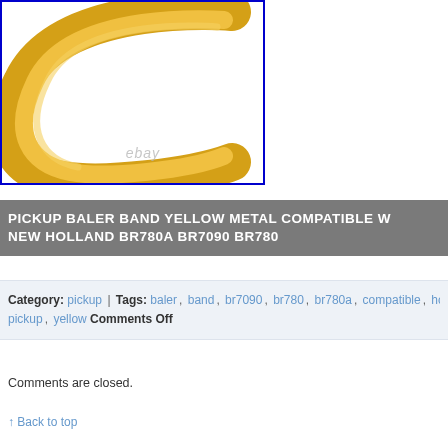[Figure (photo): A yellow metal baler pickup band shaped like a C/horseshoe, shown on white background with ebay watermark]
PICKUP BALER BAND YELLOW METAL COMPATIBLE W NEW HOLLAND BR780A BR7090 BR780
Category: pickup | Tags: baler, band, br7090, br780, br780a, compatible, holland, pickup, yellow Comments Off
Comments are closed.
↑ Back to top